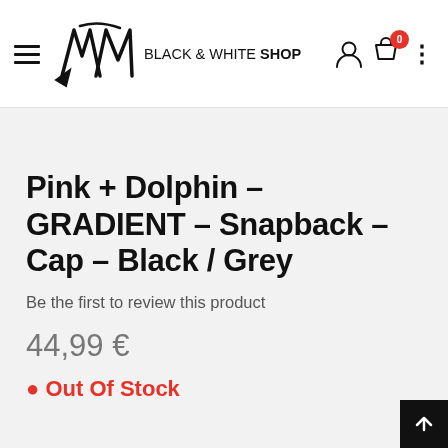BLACK & WHITE SHOP
Pink + Dolphin – GRADIENT – Snapback – Cap – Black / Grey
Be the first to review this product
44,99 €
Out Of Stock